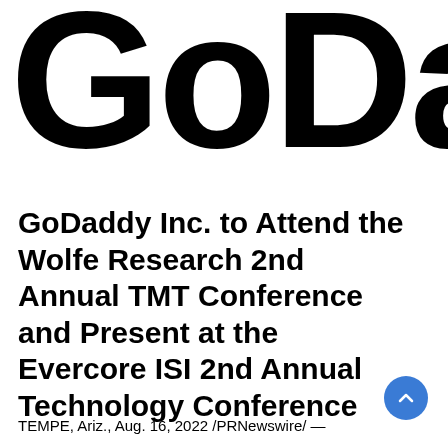[Figure (logo): GoDaddy logo — large black bold letters 'GoDa' cropped, showing top portion of the GoDaddy wordmark]
GoDaddy Inc. to Attend the Wolfe Research 2nd Annual TMT Conference and Present at the Evercore ISI 2nd Annual Technology Conference
TEMPE, Ariz., Aug. 16, 2022 /PRNewswire/ —